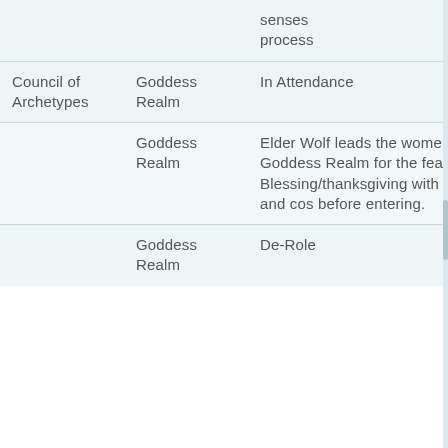|  | Goddess Realm | senses process |
| --- | --- | --- |
| Council of Archetypes | Goddess Realm | In Attendance |
|  | Goddess Realm | Elder Wolf leads the women to the Goddess Realm for the feast. Blessing/thanksgiving with women and cos before entering. |
|  | Goddess Realm | De-Role |